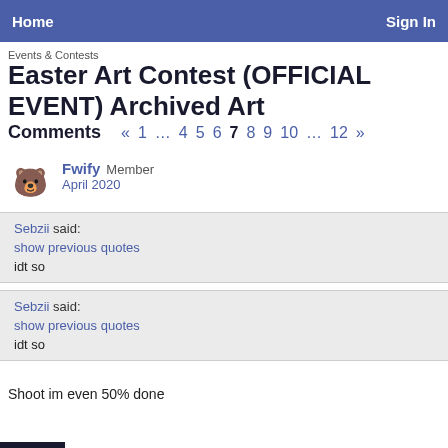Home    Sign In
Events & Contests
Easter Art Contest (OFFICIAL EVENT) Archived Art
Comments  « 1 … 4 5 6 7 8 9 10 … 12 »
Fwify Member
April 2020
Sebzii said:
show previous quotes
idt so
Sebzii said:
show previous quotes
idt so
Shoot im even 50% done